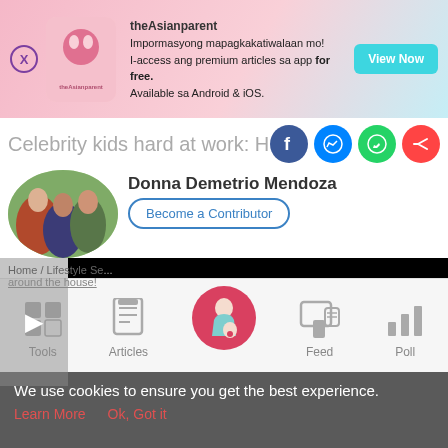[Figure (screenshot): theAsianparent app advertisement banner with logo, promotional text in Filipino, and View Now button]
Celebrity kids hard at work: Help mo...
[Figure (photo): Author avatar photo showing children sitting on grass]
Donna Demetrio Mendoza
Become a Contributor
Home / Lifestyle Se... around the house!
[Figure (screenshot): Black video player area]
Tools | Articles | [Home] | Feed | Poll
We use cookies to ensure you get the best experience.
Learn More   Ok, Got it